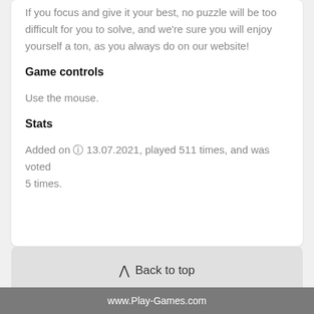If you focus and give it your best, no puzzle will be too difficult for you to solve, and we're sure you will enjoy yourself a ton, as you always do on our website!
Game controls
Use the mouse.
Stats
Added on ⓘ 13.07.2021, played 511 times, and was voted 5 times.
Back to top
www.Play-Games.com